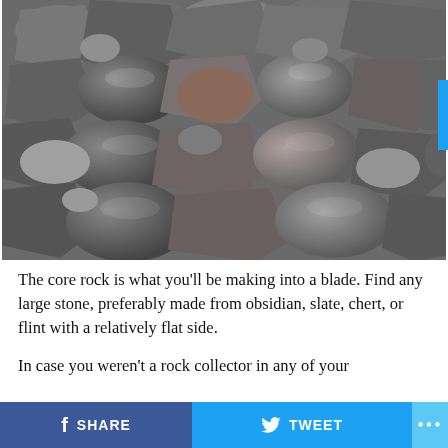[Figure (photo): Close-up photograph of many gray and dark stones/gravel piled together, various sizes and shapes, showing rocks suitable for knapping into blades]
The core rock is what you’ll be making into a blade. Find any large stone, preferably made from obsidian, slate, chert, or flint with a relatively flat side.
In case you weren’t a rock collector in any of your
f SHARE   🐦 TWEET   ...